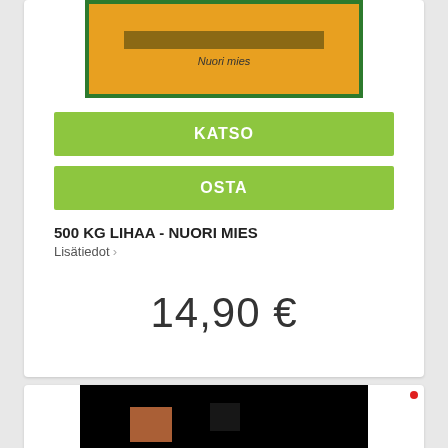[Figure (photo): Product image: orange and green labeled item showing 'Nuori mies' text]
KATSO
OSTA
500 KG LIHAA - NUORI MIES
Lisätiedot ›
14,90 €
[Figure (photo): Dark/black product image with some reddish/orange elements visible]